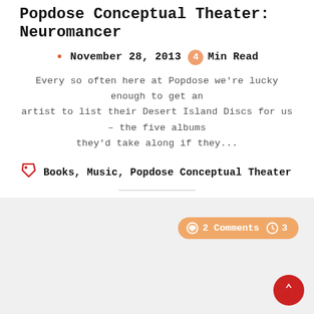Popdose Conceptual Theater: Neuromancer
• November 28, 2013  4 Min Read
Every so often here at Popdose we're lucky enough to get an artist to list their Desert Island Discs for us – the five albums they'd take along if they...
Books, Music, Popdose Conceptual Theater
2 Comments  3